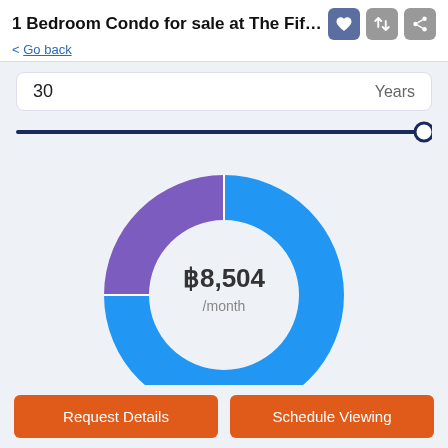1 Bedroom Condo for sale at The Fifth C...
< Go back
30    Years
[Figure (donut-chart): ฿8,504 /month]
Request Details
Schedule Viewing